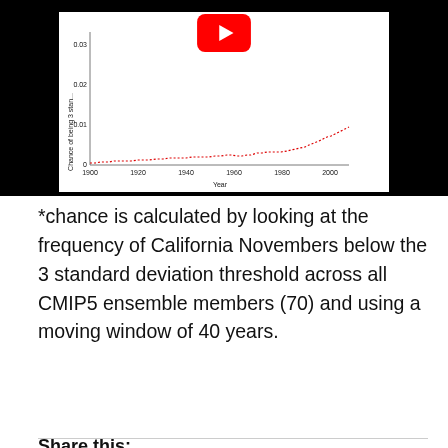[Figure (continuous-plot): Line chart (cropped, partially obscured by YouTube overlay icon) showing 'Chance of being 3 standard deviations below' on y-axis (0 to 0.03) vs Year on x-axis (1900 to ~2010). Red dotted line shows increasing trend over time. YouTube play button icon overlaid in top-center.]
*chance is calculated by looking at the frequency of California Novembers below the 3 standard deviation threshold across all CMIP5 ensemble members (70) and using a moving window of 40 years.
Share this: